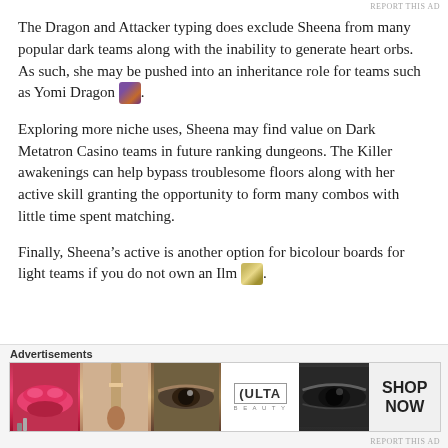REPORT THIS AD
The Dragon and Attacker typing does exclude Sheena from many popular dark teams along with the inability to generate heart orbs. As such, she may be pushed into an inheritance role for teams such as Yomi Dragon [icon].
Exploring more niche uses, Sheena may find value on Dark Metatron Casino teams in future ranking dungeons. The Killer awakenings can help bypass troublesome floors along with her active skill granting the opportunity to form many combos with little time spent matching.
Finally, Sheena’s active is another option for bicolour boards for light teams if you do not own an Ilm [icon].
[Figure (other): Close (X) button circle icon]
Advertisements
[Figure (other): ULTA beauty advertisement banner showing makeup imagery with lips, brush, eye, ULTA logo, eyes, and SHOP NOW text]